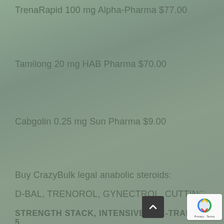TrenaRapid 100 mg Alpha-Pharma $77.00
Tamilong 20 mg HAB Pharma $70.00
Cabgolin 0.25 mg Sun Pharma $9.00
Buy CrazyBulk legal anabolic steroids:
D-BAL, TRENOROL, GYNECTROL, CUTTING...
STRENGTH STACK, INTENSIVE PRE-TRAIN, CRN-5...